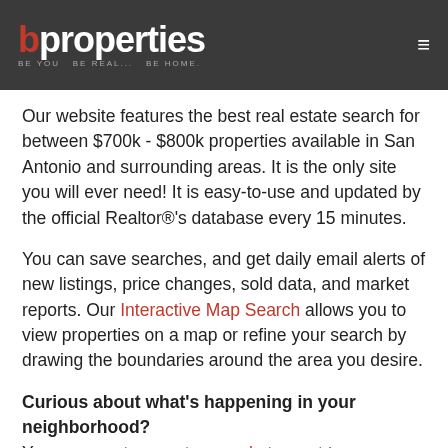b properties — BE YOU. BE REAL... BE HOME.
Our website features the best real estate search for between $700k - $800k properties available in San Antonio and surrounding areas. It is the only site you will ever need! It is easy-to-use and updated by the official Realtor®'s database every 15 minutes.
You can save searches, and get daily email alerts of new listings, price changes, sold data, and market reports. Our Interactive Map Search allows you to view properties on a map or refine your search by drawing the boundaries around the area you desire.
Curious about what's happening in your neighborhood? You can create a custom market report to see what's active, under contract, and sold in your neighborhood!
Considering selling or refinancing your home? Get an